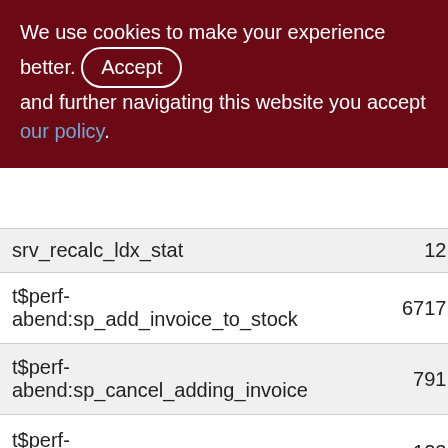We use cookies to make your experience better. By accepting and further navigating this website you accept our policy.
| Name | Count |  |
| --- | --- | --- |
| srv_recalc_ldx_stat | 12 |  |
| t$perf-abend:sp_add_invoice_to_stock | 6717 | 67 |
| t$perf-abend:sp_cancel_adding_invoice | 791 | 7 |
| t$perf-abend:sp_cancel_client_order | 123 | 1 |
| t$perf-abend:sp_cancel_customer_reserve | 22 |  |
| t$perf- | 9 |  |